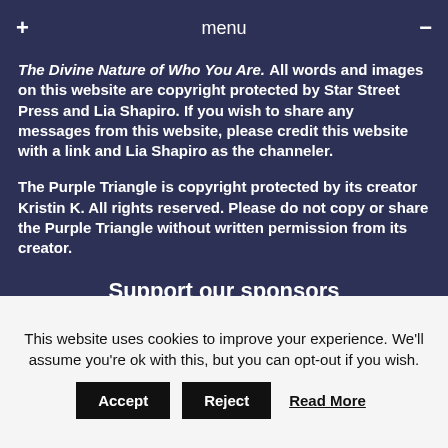+ menu −
The Divine Nature of Who You Are. All words and images on this website are copyright protected by Star Street Press and Lia Shapiro. If you wish to share any messages from this website, please credit this website with a link and Lia Shapiro as the channeler.
The Purple Triangle is copyright protected by its creator Kristin K. All rights reserved. Please do not copy or share the Purple Triangle without written permission from its creator.
Support our sponsors
This website uses cookies to improve your experience. We'll assume you're ok with this, but you can opt-out if you wish.
Accept   Reject   Read More